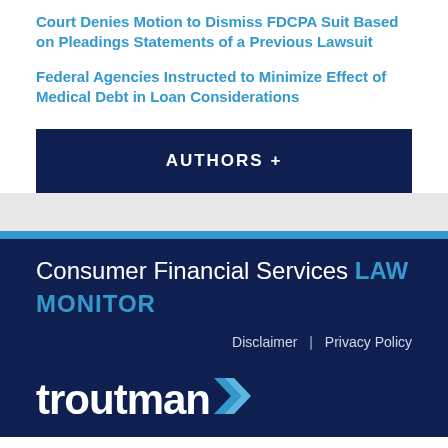Court Denies Motion to Dismiss FDCPA Suit Based on Pleadings Statements of a Previous Lawsuit
Federal Agencies Instructed to Minimize Effect of Medical Debt in Loan Considerations
AUTHORS +
Consumer Financial Services LAW MONITOR
Disclaimer | Privacy Policy
[Figure (logo): Troutman logo in white on dark navy background]